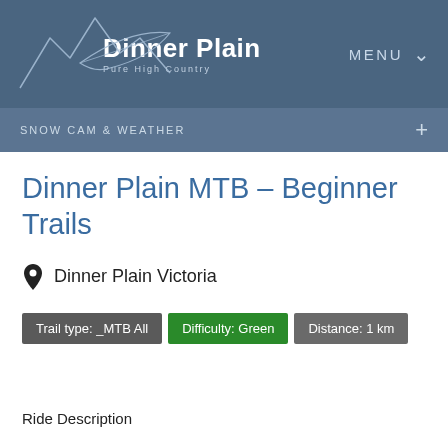Dinner Plain | Pure High Country | MENU
SNOW CAM & WEATHER
Dinner Plain MTB – Beginner Trails
Dinner Plain Victoria
Trail type: _MTB All | Difficulty: Green | Distance: 1 km
Ride Description